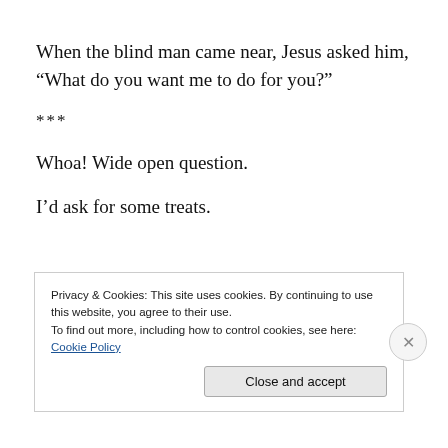When the blind man came near, Jesus asked him, “What do you want me to do for you?”
***
Whoa! Wide open question.
I’d ask for some treats.
Privacy & Cookies: This site uses cookies. By continuing to use this website, you agree to their use.
To find out more, including how to control cookies, see here: Cookie Policy